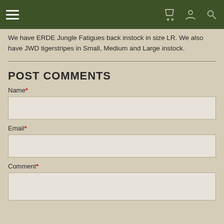Navigation bar with hamburger menu, cart, account, and search icons
We have ERDE Jungle Fatigues back instock in size LR. We also have JWD tigerstripes in Small, Medium and Large instock.
POST COMMENTS
Name*
Email*
Comment*